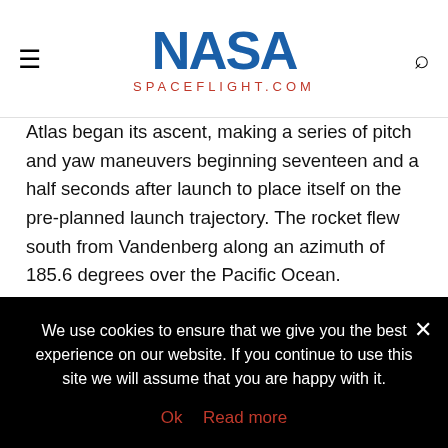NASA SPACEFLIGHT.COM
Atlas began its ascent, making a series of pitch and yaw maneuvers beginning seventeen and a half seconds after launch to place itself on the pre-planned launch trajectory. The rocket flew south from Vandenberg along an azimuth of 185.6 degrees over the Pacific Ocean.
At 79.1 seconds into the flight the vehicle passed through Mach 1, the speed of sound, followed by the area of maximum dynamic pressure, or Max-Q, 13.4 seconds later.
Four minutes and 3.1 seconds after liftoff, the Common Core Booster cut off, having completed its role in the mission. The
We use cookies to ensure that we give you the best experience on our website. If you continue to use this site we will assume that you are happy with it. Ok Read more